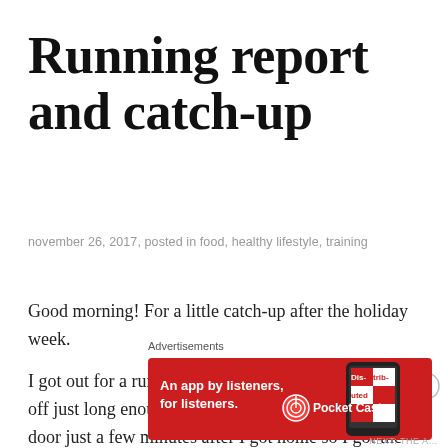Running report and catch-up
november 26, 2017, posted in food, healthy lifestyle, training
Good morning! For a little catch-up after the holiday week.
I got out for a run on Monday after work, the rain held off just long enough and I managed to make it out the door just a few minutes after I got home so I got the last bit of sunlight. Pretty sunset huh?
Advertisements
[Figure (other): Pocket Casts podcast app advertisement banner on red background with phone image showing 'Distributed' text and Pocket Casts logo]